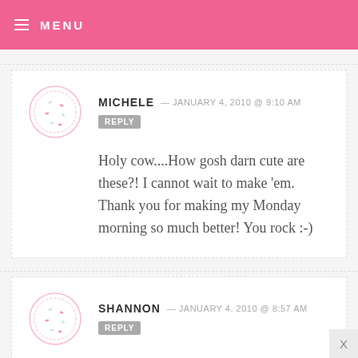MENU
MICHELE — JANUARY 4, 2010 @ 9:10 AM  REPLY
Holy cow....How gosh darn cute are these?! I cannot wait to make 'em. Thank you for making my Monday morning so much better! You rock :-)
SHANNON — JANUARY 4, 2010 @ 8:57 AM  REPLY
Ok these are the cutest things ever!!!